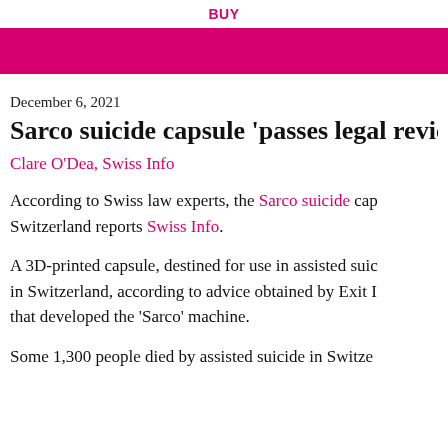BUY
Sarco suicide capsule 'passes legal review' in…
December 6, 2021
Clare O'Dea, Swiss Info
According to Swiss law experts, the Sarco suicide capsule can be used in Switzerland reports Swiss Info.
A 3D-printed capsule, destined for use in assisted suicide, is expected to be used in Switzerland, according to advice obtained by Exit International, the group that developed the 'Sarco' machine.
Some 1,300 people died by assisted suicide in Switze…